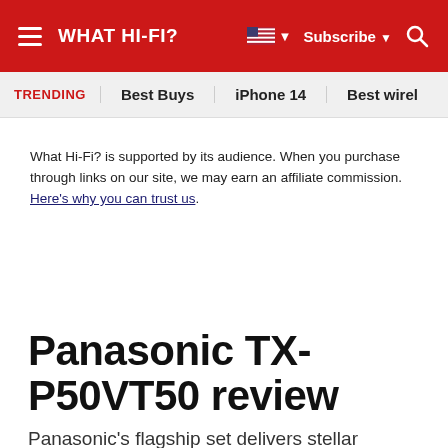WHAT HI-FI?
TRENDING  Best Buys  iPhone 14  Best wirel…
What Hi-Fi? is supported by its audience. When you purchase through links on our site, we may earn an affiliate commission. Here's why you can trust us.
Panasonic TX-P50VT50 review
Panasonic's flagship set delivers stellar